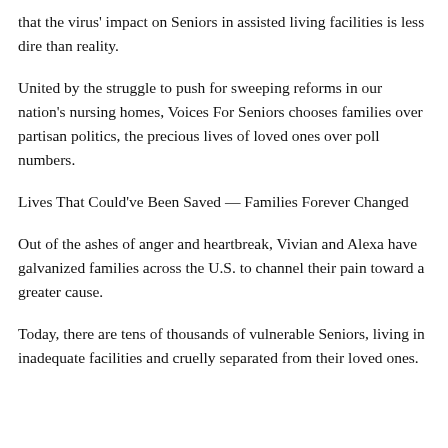that the virus' impact on Seniors in assisted living facilities is less dire than reality.
United by the struggle to push for sweeping reforms in our nation's nursing homes, Voices For Seniors chooses families over partisan politics, the precious lives of loved ones over poll numbers.
Lives That Could've Been Saved — Families Forever Changed
Out of the ashes of anger and heartbreak, Vivian and Alexa have galvanized families across the U.S. to channel their pain toward a greater cause.
Today, there are tens of thousands of vulnerable Seniors, living in inadequate facilities and cruelly separated from their loved ones.